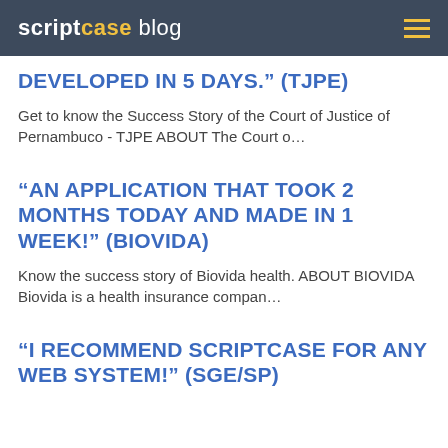scriptcase blog
DEVELOPED IN 5 DAYS.” (TJPE)
Get to know the Success Story of the Court of Justice of Pernambuco - TJPE ABOUT The Court o…
“AN APPLICATION THAT TOOK 2 MONTHS TODAY AND MADE IN 1 WEEK!” (BIOVIDA)
Know the success story of Biovida health. ABOUT BIOVIDA Biovida is a health insurance compan…
“I RECOMMEND SCRIPTCASE FOR ANY WEB SYSTEM!” (SGE/SP)